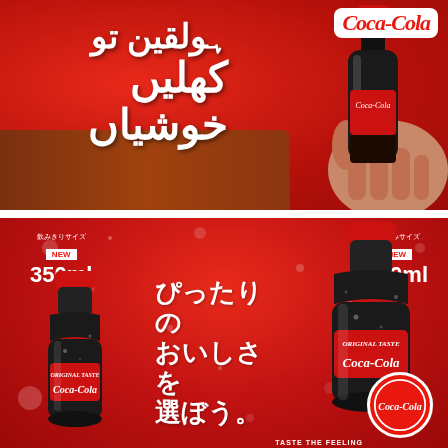[Figure (illustration): Coca-Cola Urdu advertisement: red background with wood texture at bottom, white Urdu text reading 'ہولقین تو کھلیں خوشیاں', hand holding a Coca-Cola glass bottle, Coca-Cola logo top right]
[Figure (illustration): Coca-Cola Japanese advertisement on red background with sparkles. Two bottles shown: 350ml (飲みきりサイズ NEW) and 700ml (2人飲みサイズ NEW). Japanese text: ぴったりのおいしさを選ぼう。Coca-Cola logo circle bottom right. TASTE THE FEELING tagline.]